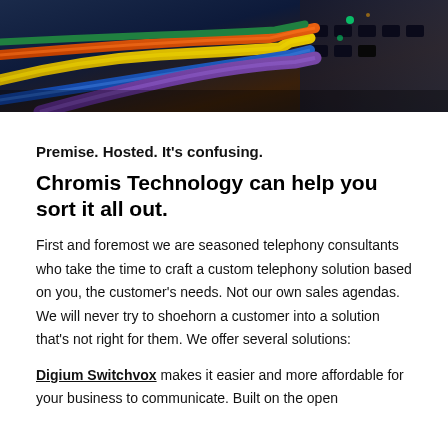[Figure (photo): Close-up photograph of colorful ethernet/network cables (yellow, orange, blue, purple) plugged into a network switch or patch panel, dark background.]
Premise. Hosted. It's confusing.
Chromis Technology can help you sort it all out.
First and foremost we are seasoned telephony consultants who take the time to craft a custom telephony solution based on you, the customer's needs. Not our own sales agendas. We will never try to shoehorn a customer into a solution that's not right for them. We offer several solutions:
Digium Switchvox makes it easier and more affordable for your business to communicate. Built on the open